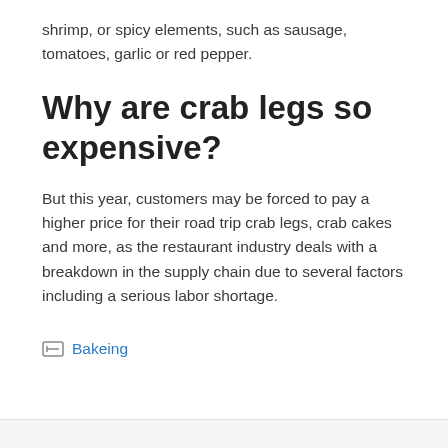shrimp, or spicy elements, such as sausage, tomatoes, garlic or red pepper.
Why are crab legs so expensive?
But this year, customers may be forced to pay a higher price for their road trip crab legs, crab cakes and more, as the restaurant industry deals with a breakdown in the supply chain due to several factors including a serious labor shortage.
Bakeing